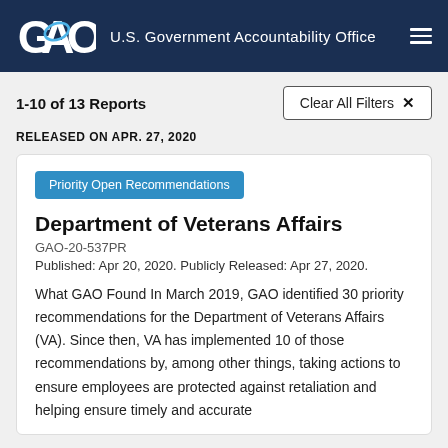GAO U.S. Government Accountability Office
1-10 of 13 Reports
Clear All Filters ✕
RELEASED ON APR. 27, 2020
Priority Open Recommendations
Department of Veterans Affairs
GAO-20-537PR
Published: Apr 20, 2020. Publicly Released: Apr 27, 2020.
What GAO Found In March 2019, GAO identified 30 priority recommendations for the Department of Veterans Affairs (VA). Since then, VA has implemented 10 of those recommendations by, among other things, taking actions to ensure employees are protected against retaliation and helping ensure timely and accurate